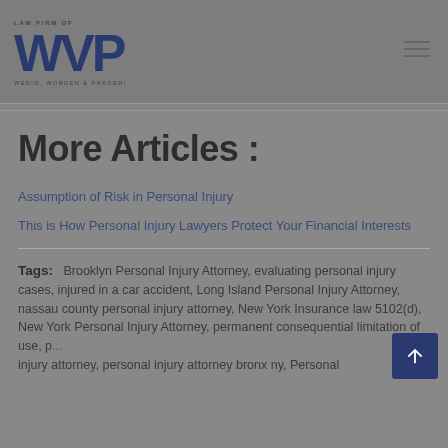[Figure (logo): WVP Law Firm logo with stylized letters and tagline 'WENIG, WORDEN & PRAGERI']
More Articles :
Assumption of Risk in Personal Injury
This is How Personal Injury Lawyers Protect Your Financial Interests
Tags: Brooklyn Personal Injury Attorney, evaluating personal injury cases, injured in a car accident, Long Island Personal Injury Attorney, nassau county personal injury attorney, New York Insurance law 5102(d), New York Personal Injury Attorney, permanent consequential limitation of use, personal injury attorney, personal injury attorney bronx ny, Personal